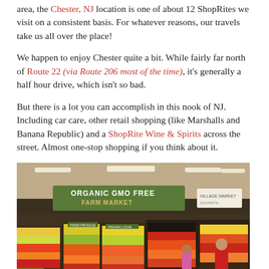area, the Chester, NJ location is one of about 12 ShopRites we visit on a consistent basis. For whatever reasons, our travels take us all over the place!
We happen to enjoy Chester quite a bit. While fairly far north of Route 22 (via Route 206 most of the time), it's generally a half hour drive, which isn't so bad.
But there is a lot you can accomplish in this nook of NJ. Including car care, other retail shopping (like Marshalls and Banana Republic) and a ShopRite Wine & Spirits across the street. Almost one-stop shopping if you think about it.
[Figure (photo): Interior of a ShopRite grocery store showing the produce section with an 'Organic GMO Free Farm Market' sign overhead, colorful fruits and vegetables on display, and customers shopping.]